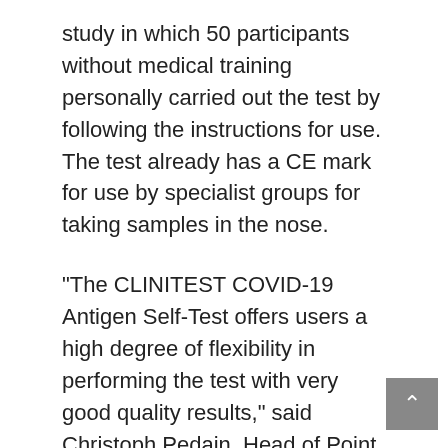study in which 50 participants without medical training personally carried out the test by following the instructions for use. The test already has a CE mark for use by specialist groups for taking samples in the nose.
“The CLINITEST COVID-19 Antigen Self-Test offers users a high degree of flexibility in performing the test with very good quality results,” said Christoph Pedain, Head of Point of Care Diagnostics at Siemens Healthineers.
Siemens’ COVID-19 Antigen Self-Test takes 15 minutes to give a result, using samples taken from both nostrils using a swab. The swab is then was out in a reagent, which detaches a specific protein